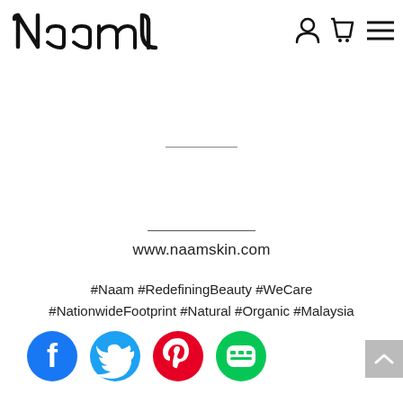Naam logo navigation with user, cart, and menu icons
www.naamskin.com
#Naam #RedefiningBeauty #WeCare #NationwideFootprint #Natural #Organic #Malaysia
[Figure (logo): Social media icons row: Facebook (blue), Twitter (blue), Pinterest (red), Line (green)]